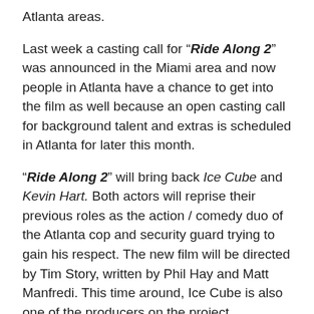Atlanta areas.
Last week a casting call for “Ride Along 2” was announced in the Miami area and now people in Atlanta have a chance to get into the film as well because an open casting call for background talent and extras is scheduled in Atlanta for later this month.
“Ride Along 2” will bring back Ice Cube and Kevin Hart. Both actors will reprise their previous roles as the action / comedy duo of the Atlanta cop and security guard trying to gain his respect. The new film will be directed by Tim Story, written by Phil Hay and Matt Manfredi. This time around, Ice Cube is also one of the producers on the project.
The stotyline for the sequel seems to be just like the one for the original “Ride Along” film. According to IMDB, in “Ride Along 2” security guard Ben must prove himself to his girlfriend’s brother, top cop James. He rides along James on a 24-hour patrol of Atlanta.